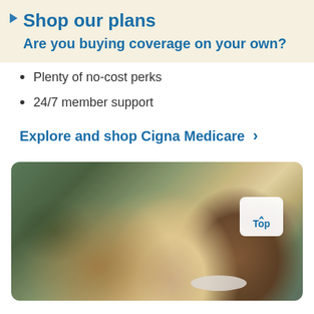Shop our plans
Are you buying coverage on your own?
Plenty of no-cost perks
24/7 member support
Explore and shop Cigna Medicare >
[Figure (photo): A joyful grandfather laughing while two grandchildren kiss him on each cheek, outdoors in a garden setting. A 'Top' navigation button overlay is visible in the upper right of the photo.]